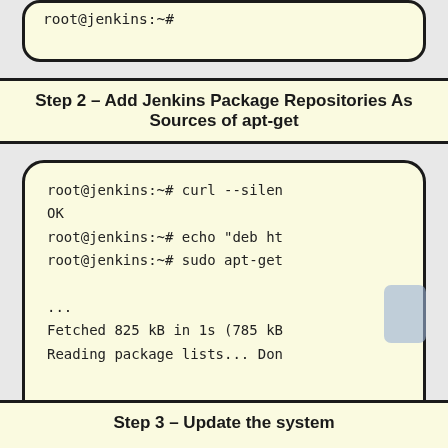[Figure (screenshot): Terminal box (partial, top of page) showing: root@jenkins:~#]
Step 2 – Add Jenkins Package Repositories As Sources of apt-get
[Figure (screenshot): Terminal box showing commands: root@jenkins:~# curl --silen, OK, root@jenkins:~# echo "deb ht, root@jenkins:~# sudo apt-get, ..., Fetched 825 kB in 1s (785 kB, Reading package lists... Don]
Step 3 – Update the system